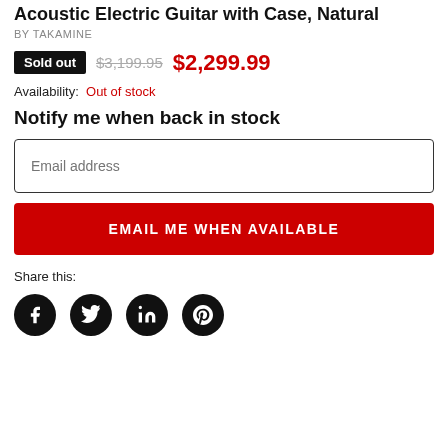Acoustic Electric Guitar with Case, Natural
BY TAKAMINE
Sold out  $3,199.95  $2,299.99
Availability: Out of stock
Notify me when back in stock
Email address
EMAIL ME WHEN AVAILABLE
Share this:
[Figure (other): Social sharing icons: Facebook, Twitter, LinkedIn, Pinterest]